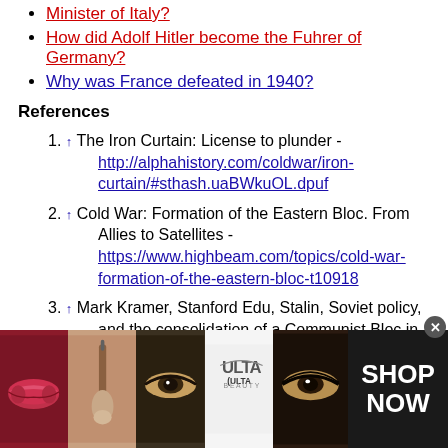Minister of Italy?
How did Adolf Hitler become the Fuhrer of Germany?
Why was France defeated in 1940?
References
1. ↑ The Iron Curtain: License to plunder - http://alphahistory.com/coldwar/iron-curtain/#sthash.uaBWkuOL.dpuf
2. ↑ Cold War: Formation of the Eastern Bloc. From Allies to Satellites - https://www.highbeam.com/topics/cold-war-formation-of-the-eastern-bloc-t10918
3. ↑ Mark Kramer, Stanford Edu, Stalin, Soviet policy, and the consolidation of a Communist Bloc in Eastern Europe: http://fsi.stanford.edu/sites/default/files/evn
[Figure (advertisement): Ulta Beauty advertisement banner with cosmetic images (lips, makeup brush, eyes, Ulta logo) and SHOP NOW text]